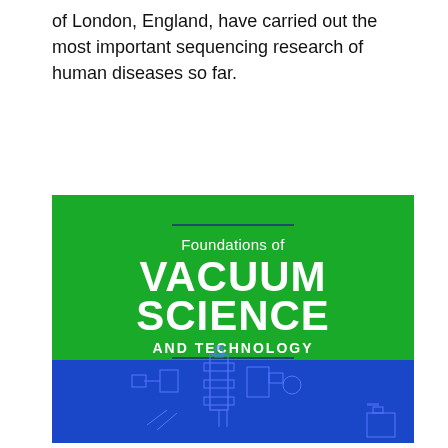of London, England, have carried out the most important sequencing research of human diseases so far.
[Figure (illustration): Book cover for 'Foundations of Vacuum Science and Technology'. Green upper portion with title text in white; blue lower portion showing schematic engineering diagrams of vacuum equipment.]